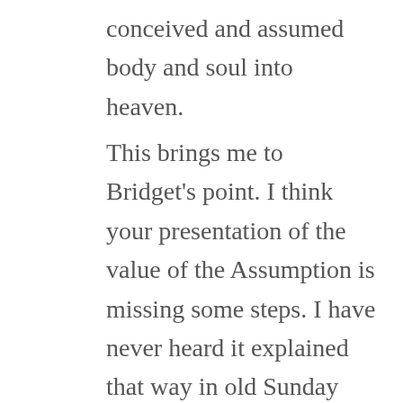conceived and assumed body and soul into heaven.
This brings me to Bridget's point. I think your presentation of the value of the Assumption is missing some steps. I have never heard it explained that way in old Sunday school classes, coursework, or in preaching. No one has ever pointed to the Assumption unequivocally as the focal point of our hope in the resurrection. In other words, I have